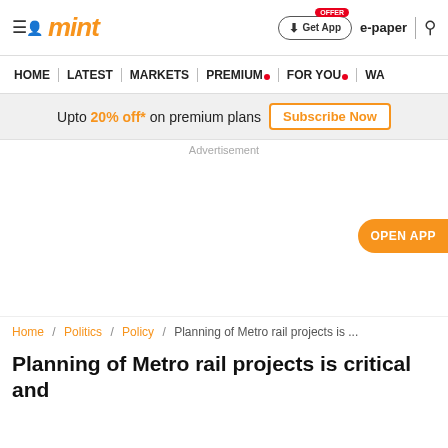mint
HOME | LATEST | MARKETS | PREMIUM | FOR YOU | WA...
Upto 20% off* on premium plans   Subscribe Now
Advertisement
OPEN APP
Home / Politics / Policy / Planning of Metro rail projects is ...
Planning of Metro rail projects is critical and